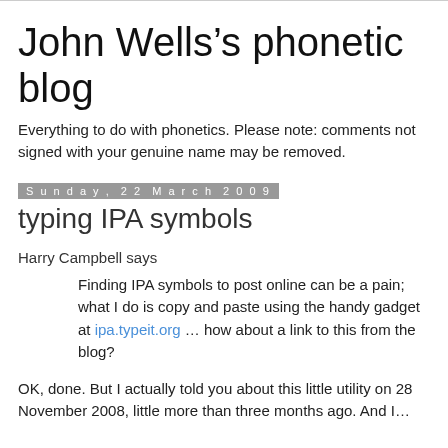John Wells’s phonetic blog
Everything to do with phonetics. Please note: comments not signed with your genuine name may be removed.
Sunday, 22 March 2009
typing IPA symbols
Harry Campbell says
Finding IPA symbols to post online can be a pain; what I do is copy and paste using the handy gadget at ipa.typeit.org … how about a link to this from the blog?
OK, done. But I actually told you about this little utility on 28 November 2008, little more than three months ago. And I…